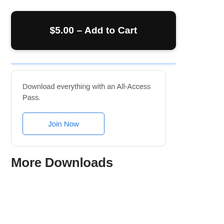$5.00 – Add to Cart
Download everything with an All-Access Pass.
Join Now
More Downloads